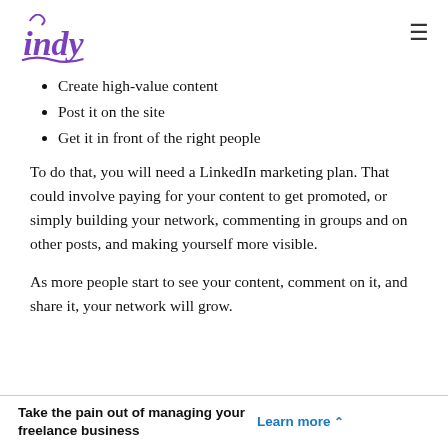indy [logo] [hamburger menu]
Create high-value content
Post it on the site
Get it in front of the right people
To do that, you will need a LinkedIn marketing plan. That could involve paying for your content to get promoted, or simply building your network, commenting in groups and on other posts, and making yourself more visible.
As more people start to see your content, comment on it, and share it, your network will grow.
Take the pain out of managing your freelance business  Learn more ^